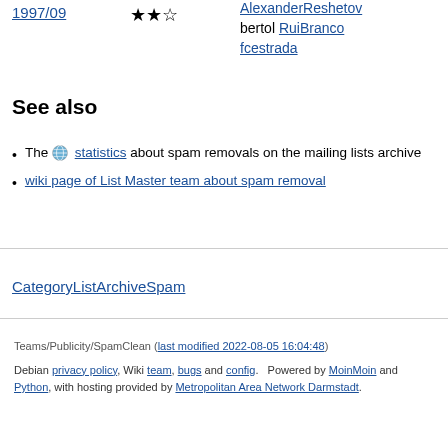1997/09
★★☆
AlexanderReshetov bertol RuiBranco fcestrada
See also
The 🌐 statistics about spam removals on the mailing lists archive
wiki page of List Master team about spam removal
CategoryListArchiveSpam
Teams/Publicity/SpamClean (last modified 2022-08-05 16:04:48) Debian privacy policy, Wiki team, bugs and config. Powered by MoinMoin and Python, with hosting provided by Metropolitan Area Network Darmstadt.